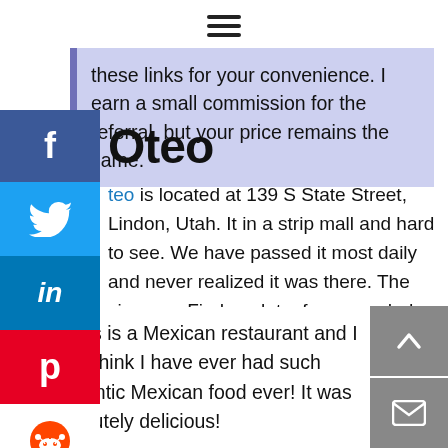☰ (hamburger menu icon)
these links for your convenience. I earn a small commission for the referral, but your price remains the same.
Oteo
Oteo is located at 139 S State Street, Lindon, Utah. It in a strip mall and hard to see. We have passed it most daily and never realized it was there. The views on Findmeglutenfree sounded great and so we were off to check it out!
Oteo's is a Mexican restaurant and I don't think I have ever had such authentic Mexican food ever! It was absolutely delicious!